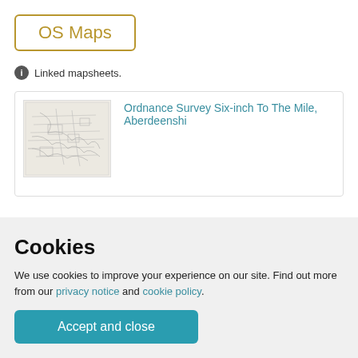OS Maps
Linked mapsheets.
[Figure (map): Thumbnail image of an Ordnance Survey map sheet showing topographic details]
Ordnance Survey Six-inch To The Mile, Aberdeenshi
Cookies
We use cookies to improve your experience on our site. Find out more from our privacy notice and cookie policy.
Accept and close